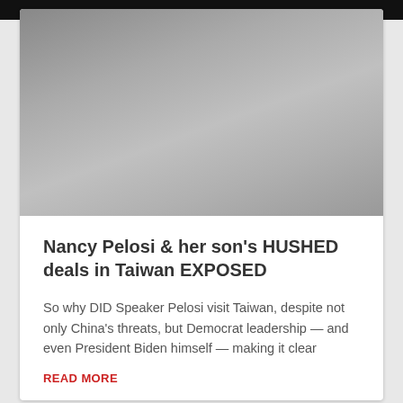[Figure (photo): Gray gradient placeholder image at top of article card]
Nancy Pelosi & her son's HUSHED deals in Taiwan EXPOSED
So why DID Speaker Pelosi visit Taiwan, despite not only China's threats, but Democrat leadership — and even President Biden himself — making it clear
READ MORE